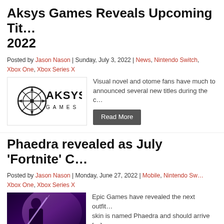Aksys Games Reveals Upcoming Titles 2022
Posted by Jason Nason | Sunday, July 3, 2022 | News, Nintendo Switch, Xbox One, Xbox Series X
[Figure (logo): Aksys Games logo — stylized compass/target symbol with text AKSYS GAMES]
Visual novel and otome fans have much to be excited about as Aksys announced several new titles during the c…
Read More
Phaedra revealed as July 'Fortnite' Crew…
Posted by Jason Nason | Monday, June 27, 2022 | Mobile, Nintendo Switch, Xbox One, Xbox Series X
[Figure (photo): Fortnite Crew promotional image showing a dark female character with purple/blue lighting and the Fortnite Crew logo text]
Epic Games have revealed the next outfit for the Fortnite Crew. The skin is named Phaedra and should arrive […]
Read More